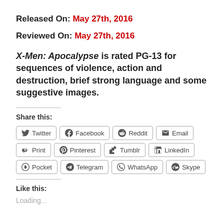Released On: May 27th, 2016
Reviewed On: May 27th, 2016
X-Men: Apocalypse is rated PG-13 for sequences of violence, action and destruction, brief strong language and some suggestive images.
Share this:
Twitter Facebook Reddit Email Print Pinterest Tumblr LinkedIn Pocket Telegram WhatsApp Skype
Like this:
Loading...